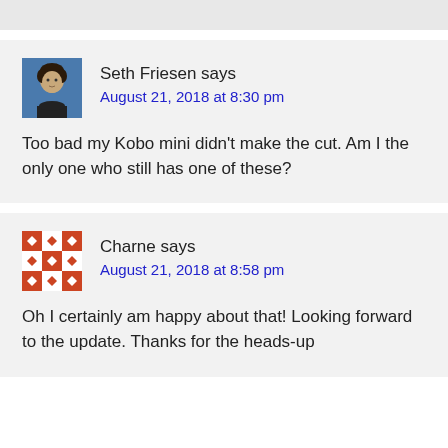[Figure (other): Gray top bar area]
Seth Friesen says
August 21, 2018 at 8:30 pm
Too bad my Kobo mini didn’t make the cut. Am I the only one who still has one of these?
Charne says
August 21, 2018 at 8:58 pm
Oh I certainly am happy about that! Looking forward to the update. Thanks for the heads-up